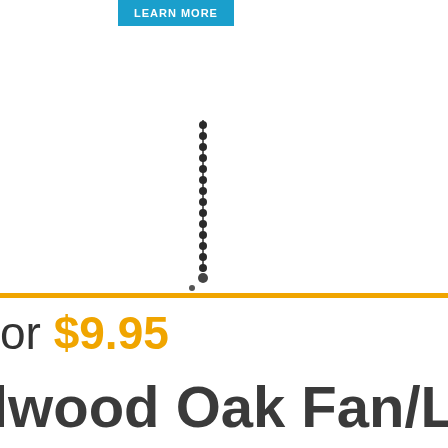[Figure (screenshot): Blue 'LEARN MORE' button, partially cropped on left edge]
[Figure (photo): Two ball chain pull cords hanging vertically — one dark (left) and one gold/brass (right) — above an orange horizontal divider bar]
or $9.95
lwood Oak Fan/Li